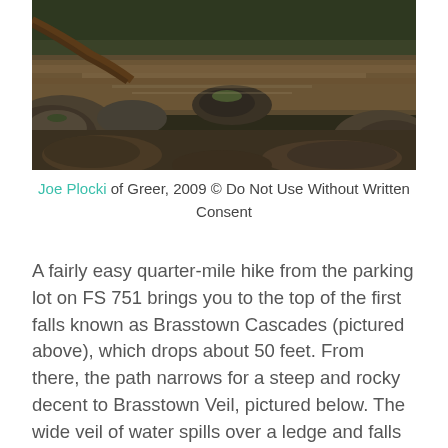[Figure (photo): A nature/landscape photo of rocks and slow-moving water in a stream or creek, with mossy rocks and a forested background. Taken in 2009 by Joe Plocki.]
Joe Plocki of Greer, 2009 © Do Not Use Without Written Consent
A fairly easy quarter-mile hike from the parking lot on FS 751 brings you to the top of the first falls known as Brasstown Cascades (pictured above), which drops about 50 feet. From there, the path narrows for a steep and rocky decent to Brasstown Veil, pictured below. The wide veil of water spills over a ledge and falls another 15-20 feet into a pool that invites a cooling dip on